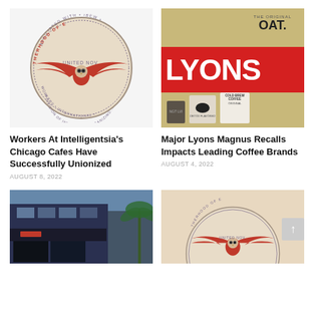[Figure (logo): Brotherhood of Electrical Workers union logo with eagle wings and circular badge]
Workers At Intelligentsia's Chicago Cafes Have Successfully Unionized
AUGUST 8, 2022
[Figure (photo): Lyons Magnus brand products on tan/gold background with large red LYONS banner, oat milk carton, coffee products including Cold Brew Coffee Original]
Major Lyons Magnus Recalls Impacts Leading Coffee Brands
AUGUST 4, 2022
[Figure (photo): Street-level view of a cafe storefront with dark blue awning and urban buildings]
[Figure (logo): Brotherhood of Electrical Workers union logo partial view with eagle wings]